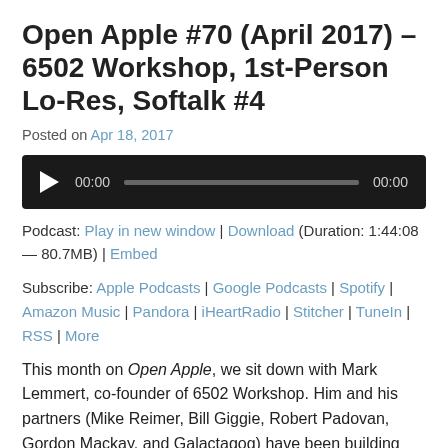Open Apple #70 (April 2017) – 6502 Workshop, 1st-Person Lo-Res, Softalk #4
Posted on Apr 18, 2017
[Figure (other): Audio player with play button, time 00:00, progress bar, and end time 00:00]
Podcast: Play in new window | Download (Duration: 1:44:08 — 80.7MB) | Embed
Subscribe: Apple Podcasts | Google Podcasts | Spotify | Amazon Music | Pandora | iHeartRadio | Stitcher | TuneIn | RSS | More
This month on Open Apple, we sit down with Mark Lemmert, co-founder of 6502 Workshop. Him and his partners (Mike Reimer, Bill Giggie, Robert Padovan, Gordon Mackay, and Galactagog) have been building Nox Archaist, a brand new story-driven tile-based role-playing game in the classical Ultima style. They're pushing the hardware as far as they can with this new engine, working to break new ground in scope